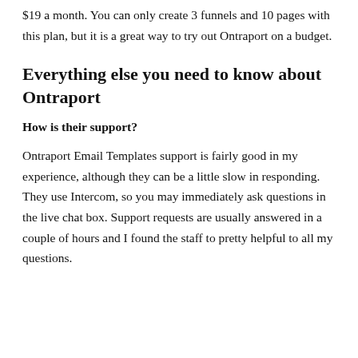$19 a month. You can only create 3 funnels and 10 pages with this plan, but it is a great way to try out Ontraport on a budget.
Everything else you need to know about Ontraport
How is their support?
Ontraport Email Templates support is fairly good in my experience, although they can be a little slow in responding. They use Intercom, so you may immediately ask questions in the live chat box. Support requests are usually answered in a couple of hours and I found the staff to pretty helpful to all my questions.